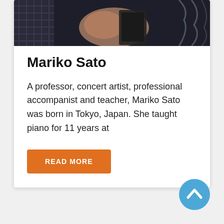[Figure (photo): Partial photo of Mariko Sato, showing hands and dark patterned fabric/clothing, cropped at top of card]
Mariko Sato
A professor, concert artist, professional accompanist and teacher, Mariko Sato was born in Tokyo, Japan. She taught piano for 11 years at
READ MORE
[Figure (illustration): Blue circular scroll-to-top button with upward chevron arrow icon]